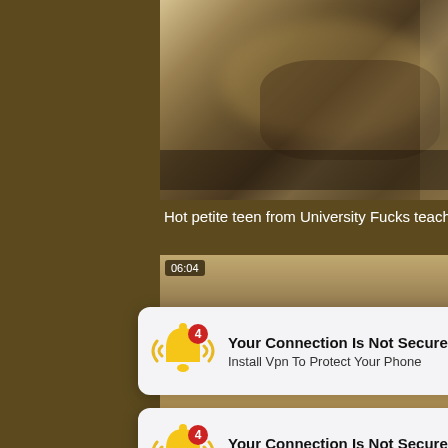[Figure (screenshot): Blurred adult video thumbnail showing a bedroom scene]
Hot petite teen from University Fucks teacher
[Figure (screenshot): Second blurred video thumbnail with time badge 06:04 and source DrTuber]
[Figure (screenshot): Notification popup: Your Connection Is Not Secure - Install Vpn To Protect Your Phone (with bell icon and badge 4)]
[Figure (screenshot): Second notification popup: Your Connection Is Not Secure - Install Vpn To Protect Your Phone (with bell icon and badge 4)]